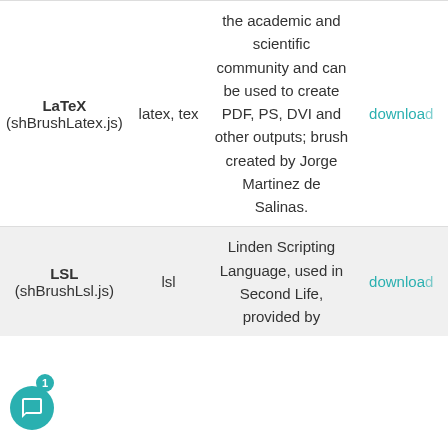| Brush | Aliases | Description |  |
| --- | --- | --- | --- |
| LaTeX
(shBrushLatex.js) | latex, tex | the academic and scientific community and can be used to create PDF, PS, DVI and other outputs; brush created by Jorge Martinez de Salinas. | download |
| LSL
(shBrushLsl.js) | lsl | Linden Scripting Language, used in Second Life, provided by | download |